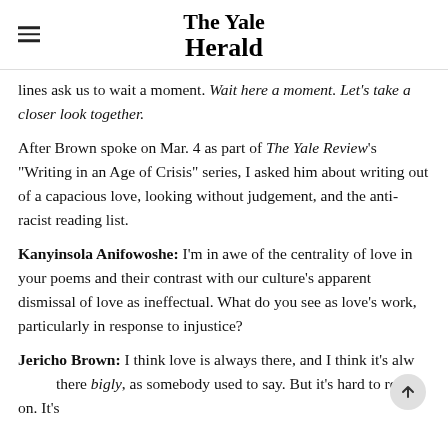The Yale Herald
lines ask us to wait a moment. Wait here a moment. Let's take a closer look together.
After Brown spoke on Mar. 4 as part of The Yale Review's "Writing in an Age of Crisis" series, I asked him about writing out of a capacious love, looking without judgement, and the anti-racist reading list.
Kanyinsola Anifowoshe: I'm in awe of the centrality of love in your poems and their contrast with our culture's apparent dismissal of love as ineffectual. What do you see as love's work, particularly in response to injustice?
Jericho Brown: I think love is always there, and I think it's always there bigly, as somebody used to say. But it's hard to report on. It's